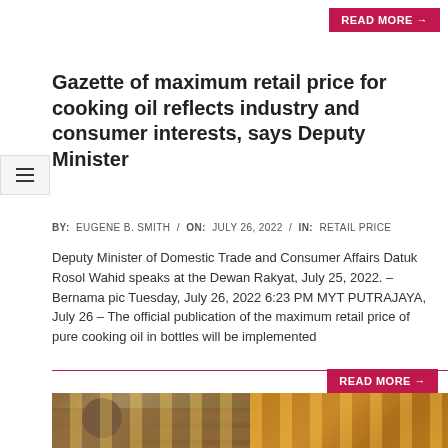READ MORE →
Gazette of maximum retail price for cooking oil reflects industry and consumer interests, says Deputy Minister
BY: EUGENE B. SMITH / ON: JULY 26, 2022 / IN: RETAIL PRICE
Deputy Minister of Domestic Trade and Consumer Affairs Datuk Rosol Wahid speaks at the Dewan Rakyat, July 25, 2022. – Bernama pic Tuesday, July 26, 2022 6:23 PM MYT PUTRAJAYA, July 26 – The official publication of the maximum retail price of pure cooking oil in bottles will be implemented
READ MORE →
[Figure (photo): Two side-by-side photos: left shows people in uniforms browsing a supermarket aisle with colorful shelves; right shows bottles of cooking oil closely packed together.]